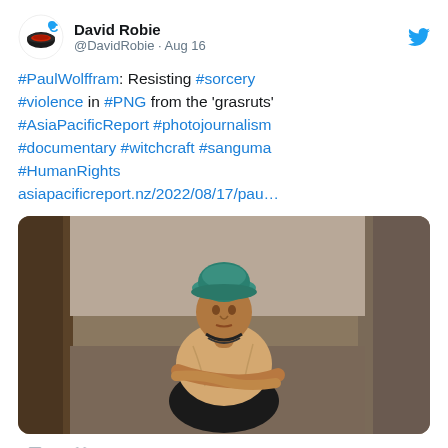[Figure (screenshot): Twitter/X post by David Robie (@DavidRobie) dated Aug 16 with hashtags about Paul Wolffram, sorcery violence in PNG, Asia Pacific Report, photojournalism, documentary, witchcraft, sanguma, Human Rights, and a link to asiapacificreport.nz/2022/08/17/pau... with a photo of a woman sitting in a doorway wearing a teal hat and beige shirt, with 2 likes shown below.]
#PaulWolffram: Resisting #sorcery #violence in #PNG from the 'grasruts' #AsiaPacificReport #photojournalism #documentary #witchcraft #sanguma #HumanRights asiapacificreport.nz/2022/08/17/pau...
[Figure (photo): Woman with teal hat and beige short-sleeve shirt sitting in a wooden doorway, arms crossed, looking at camera]
David Robie @DavidRobie · Aug 16 (second tweet header)